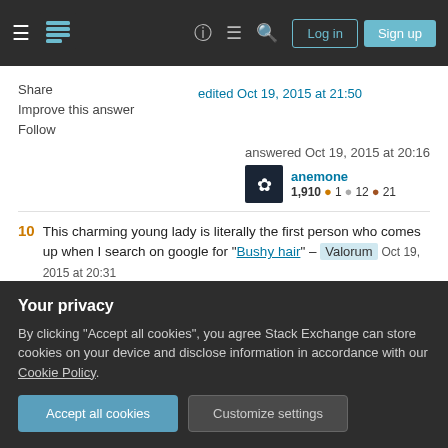Stack Exchange navigation bar with hamburger menu, logo, help, chat, search, Log in, Sign up
Share | edited Oct 19, 2015 at 21:50
Improve this answer
Follow
answered Oct 19, 2015 at 20:16
anemone 1,910 🔥1 🥈12 🥉21
10  This charming young lady is literally the first person who comes up when I search on google for "Bushy hair" – Valorum  Oct 19, 2015 at 20:31
Your privacy
By clicking "Accept all cookies", you agree Stack Exchange can store cookies on your device and disclose information in accordance with our Cookie Policy.
Accept all cookies   Customize settings
products like dye or makeup at that age, so I think